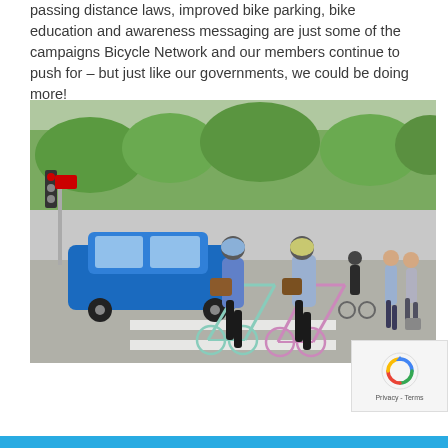passing distance laws, improved bike parking, bike education and awareness messaging are just some of the campaigns Bicycle Network and our members continue to push for – but just like our governments, we could be doing more!
[Figure (photo): Two cyclists wearing helmets viewed from behind at a busy urban intersection, with a blue car, pedestrians, and trees visible in the background on a sunny day.]